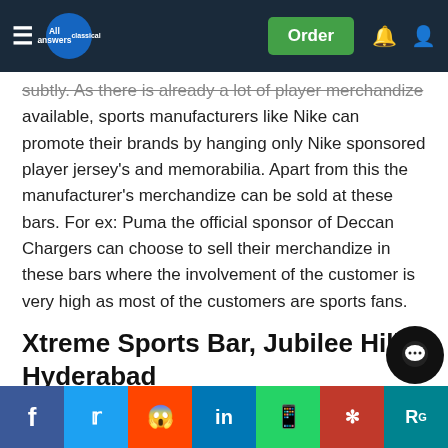All Answers Classical — Order
subtly. As there is already a lot of player merchandize available, sports manufacturers like Nike can promote their brands by hanging only Nike sponsored player jersey's and memorabilia. Apart from this the manufacturer's merchandize can be sold at these bars. For ex: Puma the official sponsor of Deccan Chargers can choose to sell their merchandize in these bars where the involvement of the customer is very high as most of the customers are sports fans.
Xtreme Sports Bar, Jubilee Hills, Hyderabad
SuryaRay Elixirs Pvt. Ltd.the parent company Xtreme Sports Bar has the largest chain of sports bars in India. The annual revenue of this chain is already in excess Rs. 25cr within just 2 years of launching. They have 7 outlets acr… s …galore and Gurga… po… u… r… next